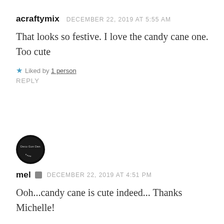acraftymix   DECEMBER 22, 2019 AT 5:55 AM
That looks so festive. I love the candy cane one. Too cute
★ Liked by 1 person
REPLY
[Figure (photo): Circular avatar with dark background, text 'Deco Gon Den' and small decorative dots]
mel  DECEMBER 22, 2019 AT 4:51 PM
Ooh...candy cane is cute indeed... Thanks Michelle!